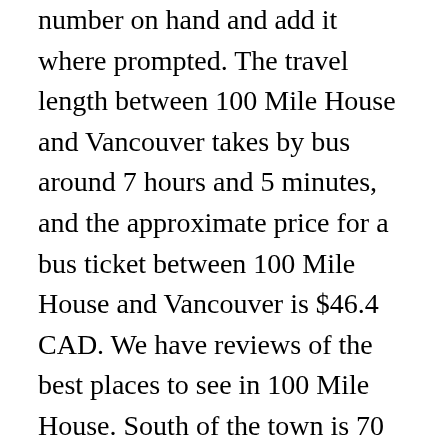number on hand and add it where prompted. The travel length between 100 Mile House and Vancouver takes by bus around 7 hours and 5 minutes, and the approximate price for a bus ticket between 100 Mile House and Vancouver is $46.4 CAD. We have reviews of the best places to see in 100 Mile House. South of the town is 70 Mile House (40 km), Clinton (72 km), Cache Creek (112 km), Spences Bridge (159 km), and Vancouver (456 km). As the most populous city in the province, the 2016 census recorded 631,486 people in the city, up from 603,502 in 2011. About Bus Travel Bus Travel Tips. The 100 Mile House - Vancouver route has approximately 2 frequencies and its